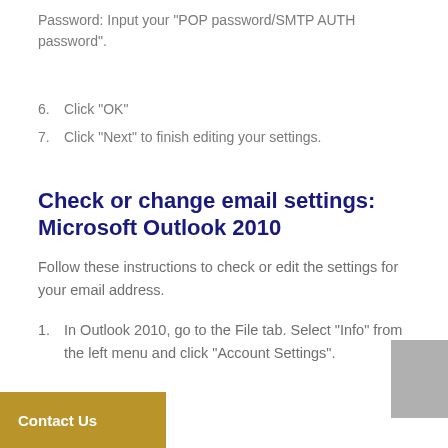Password: Input your "POP password/SMTP AUTH password".
6. Click "OK"
7. Click "Next" to finish editing your settings.
Check or change email settings: Microsoft Outlook 2010
Follow these instructions to check or edit the settings for your email address.
1. In Outlook 2010, go to the File tab. Select "Info" from the left menu and click "Account Settings".